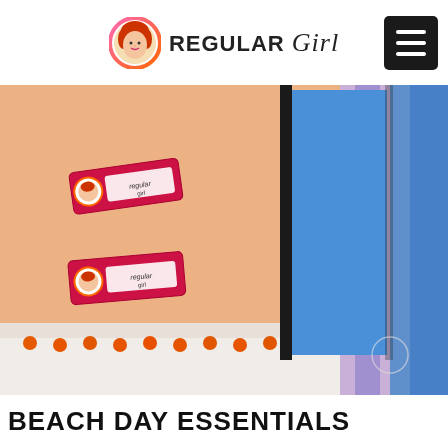REGULAR Girl
[Figure (photo): Beach day essentials photo showing Regular Girl product packets (red/pink sachets with logo) on an orange towel alongside a black-framed blue item and a colorful beach towel with orange pom-pom fringe]
BEACH DAY ESSENTIALS